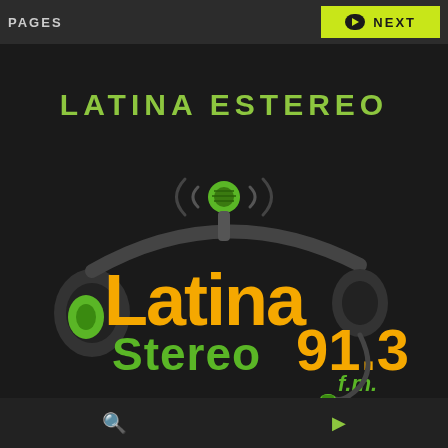PAGES   → NEXT
LATINA ESTEREO
[Figure (logo): Latina Stereo 91.3 f.m. logo with headphones graphic, orange and green lettering on dark background]
🔍  ▶